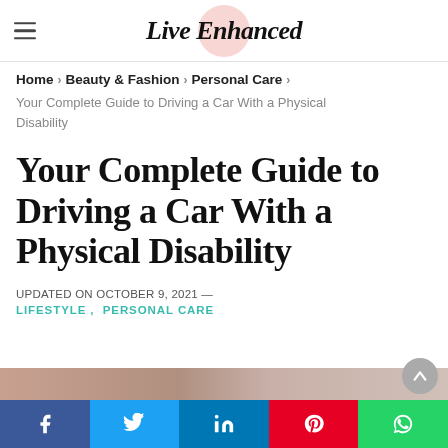Live Enhanced
Home > Beauty & Fashion > Personal Care >
Your Complete Guide to Driving a Car With a Physical Disability
Your Complete Guide to Driving a Car With a Physical Disability
UPDATED ON OCTOBER 9, 2021 —
LIFESTYLE, PERSONAL CARE
[Figure (photo): Partial photo strip at bottom of page showing a person]
Social share bar: Facebook, Twitter, LinkedIn, Pinterest, WhatsApp